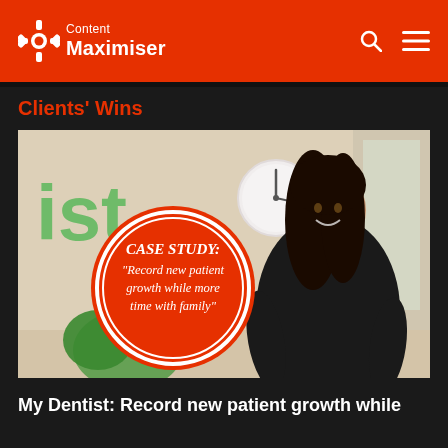Content Maximiser
Clients' Wins
[Figure (photo): Photo of a smiling woman with long dark hair wearing a black outfit, standing in a dental/medical office reception area. There is a clock on the wall and greenery visible. A red circular badge overlaid on the image reads: CASE STUDY: "Record new patient growth while more time with family"]
My Dentist: Record new patient growth while